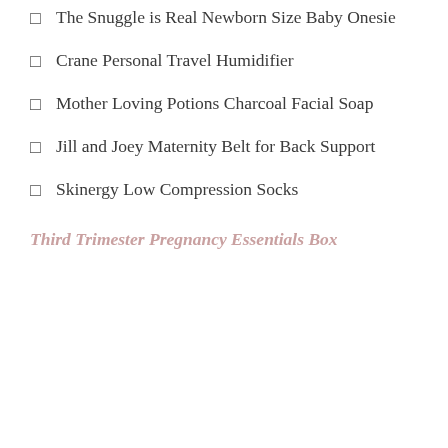The Snuggle is Real Newborn Size Baby Onesie
Crane Personal Travel Humidifier
Mother Loving Potions Charcoal Facial Soap
Jill and Joey Maternity Belt for Back Support
Skinergy Low Compression Socks
Third Trimester Pregnancy Essentials Box